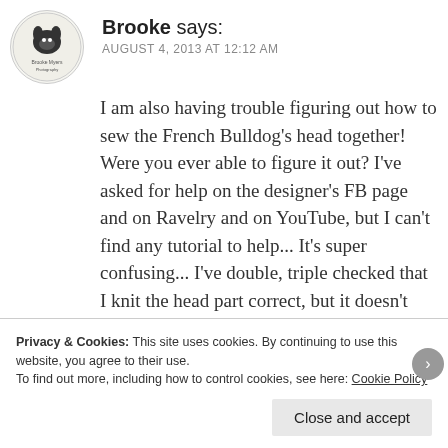[Figure (logo): Circular avatar with a French Bulldog logo/illustration and text 'Brooke Myers Photography']
Brooke says:
AUGUST 4, 2013 AT 12:12 AM
I am also having trouble figuring out how to sew the French Bulldog's head together! Were you ever able to figure it out? I've asked for help on the designer's FB page and on Ravelry and on YouTube, but I can't find any tutorial to help... It's super confusing... I've double, triple checked that I knit the head part correct, but it doesn't make any sense how it all comes together... Hoping you were able to figure it out?
Privacy & Cookies: This site uses cookies. By continuing to use this website, you agree to their use.
To find out more, including how to control cookies, see here: Cookie Policy
Close and accept